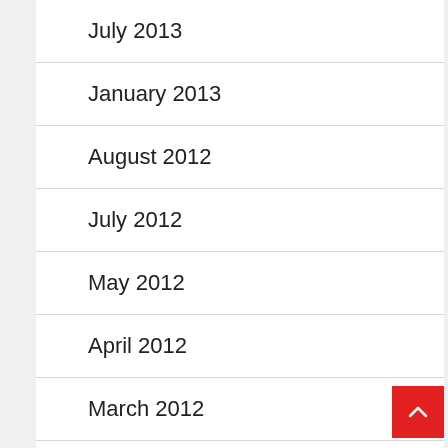July 2013
January 2013
August 2012
July 2012
May 2012
April 2012
March 2012
February 2012
January 2012